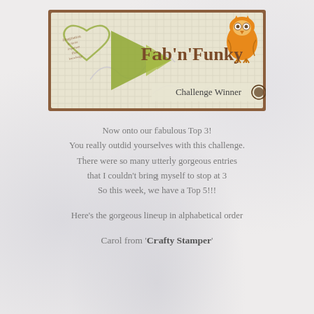[Figure (logo): Fab'n'Funky Challenge Winner banner with grid background, orange owl, green heart, geometric arrow shapes, and text 'Fab'n'Funky' in brown and 'Challenge Winner' in dark text]
Now onto our fabulous Top 3!
You really outdid yourselves with this challenge.
There were so many utterly gorgeous entries
that I couldn't bring myself to stop at 3
So this week, we have a Top 5!!!
Here's the gorgeous lineup in alphabetical order
Carol from 'Crafty Stamper'